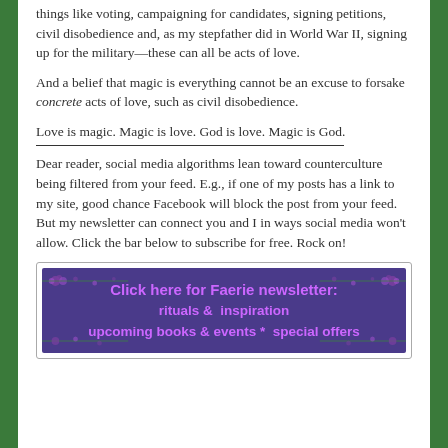things like voting, campaigning for candidates, signing petitions, civil disobedience and, as my stepfather did in World War II, signing up for the military—these can all be acts of love.
And a belief that magic is everything cannot be an excuse to forsake concrete acts of love, such as civil disobedience.
Love is magic. Magic is love. God is love. Magic is God.
Dear reader, social media algorithms lean toward counterculture being filtered from your feed. E.g., if one of my posts has a link to my site, good chance Facebook will block the post from your feed. But my newsletter can connect you and I in ways social media won't allow. Click the bar below to subscribe for free. Rock on!
[Figure (infographic): Purple banner advertisement reading 'Click here for Faerie newsletter: rituals & inspiration upcoming books & events * special offers' with floral decorations on a dark purple background with green vine/flower borders]